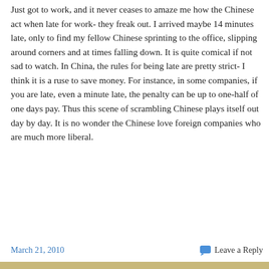Just got to work, and it never ceases to amaze me how the Chinese act when late for work- they freak out. I arrived maybe 14 minutes late, only to find my fellow Chinese sprinting to the office, slipping around corners and at times falling down. It is quite comical if not sad to watch. In China, the rules for being late are pretty strict- I think it is a ruse to save money. For instance, in some companies, if you are late, even a minute late, the penalty can be up to one-half of one days pay. Thus this scene of scrambling Chinese plays itself out day by day. It is no wonder the Chinese love foreign companies who are much more liberal.
March 21, 2010    Leave a Reply